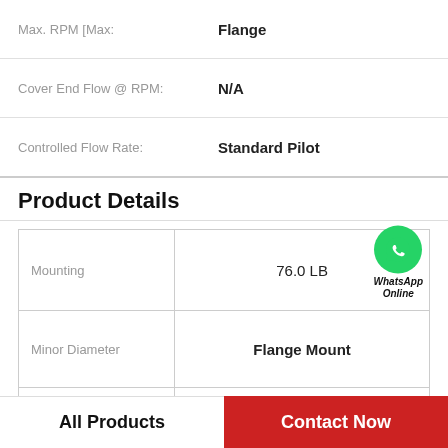|  |  |
| --- | --- |
| Max. RPM [Max: | Flange |
| Cover End Flow @ RPM: | N/A |
| Controlled Flow Rate: | Standard Pilot |
Product Details
| Mounting | 76.0 LB |
| --- | --- |
| Minor Diameter | Flange Mount |
| Pressure Port Size, Cover End | Left Hand (CCW) |
| Shaft End RPM [Max | 3525VQ30A21-11DC20-LH |
All Products
Contact Now